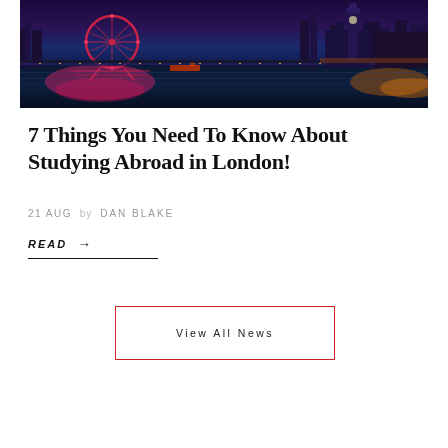[Figure (photo): Night panoramic photo of London skyline showing the London Eye, Westminster Bridge, Houses of Parliament, and Big Ben reflected in the River Thames with colorful city lights]
7 Things You Need To Know About Studying Abroad in London!
21 AUG  by  DAN BLAKE
READ →
View All News